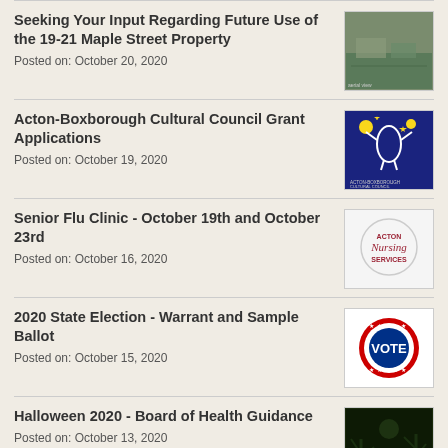Seeking Your Input Regarding Future Use of the 19-21 Maple Street Property
Posted on: October 20, 2020
Acton-Boxborough Cultural Council Grant Applications
Posted on: October 19, 2020
Senior Flu Clinic - October 19th and October 23rd
Posted on: October 16, 2020
2020 State Election - Warrant and Sample Ballot
Posted on: October 15, 2020
Halloween 2020 - Board of Health Guidance
Posted on: October 13, 2020